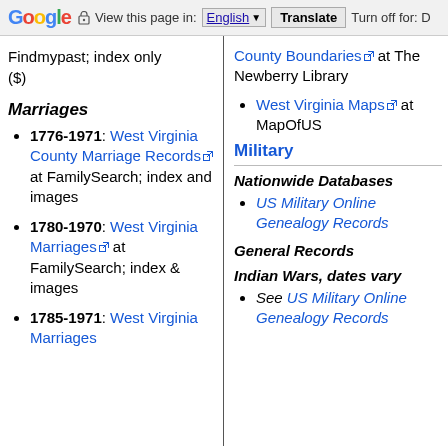Google | View this page in: English | Translate | Turn off for: D
Findmypast; index only ($)
Marriages
1776-1971: West Virginia County Marriage Records at FamilySearch; index and images
1780-1970: West Virginia Marriages at FamilySearch; index & images
1785-1971: West Virginia Marriages
County Boundaries at The Newberry Library
West Virginia Maps at MapOfUS
Military
Nationwide Databases
US Military Online Genealogy Records
General Records
Indian Wars, dates vary
See US Military Online Genealogy Records